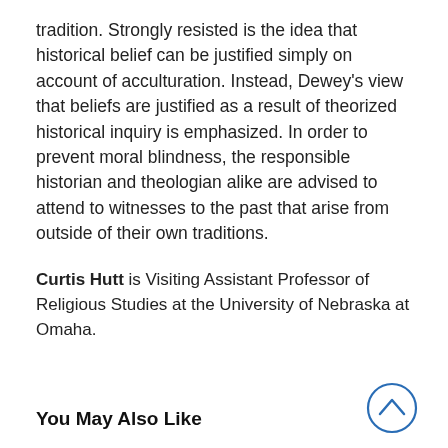tradition. Strongly resisted is the idea that historical belief can be justified simply on account of acculturation. Instead, Dewey's view that beliefs are justified as a result of theorized historical inquiry is emphasized. In order to prevent moral blindness, the responsible historian and theologian alike are advised to attend to witnesses to the past that arise from outside of their own traditions.
Curtis Hutt is Visiting Assistant Professor of Religious Studies at the University of Nebraska at Omaha.
You May Also Like